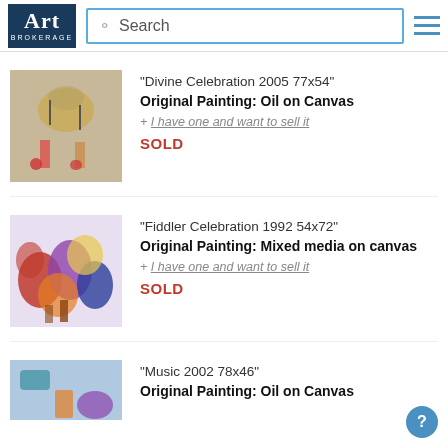Art Brokerage — Search
[Figure (photo): Painting thumbnail: Divine Celebration 2005, colorful figures with umbrellas]
"Divine Celebration 2005 77x54"
Original Painting: Oil on Canvas
+ I have one and want to sell it
SOLD
[Figure (photo): Painting thumbnail: Fiddler Celebration 1992, colorful floral/dancer figures]
"Fiddler Celebration 1992 54x72"
Original Painting: Mixed media on canvas
+ I have one and want to sell it
SOLD
[Figure (photo): Painting thumbnail: Music 2002, partial view of colorful abstract painting]
"Music 2002 78x46"
Original Painting: Oil on Canvas